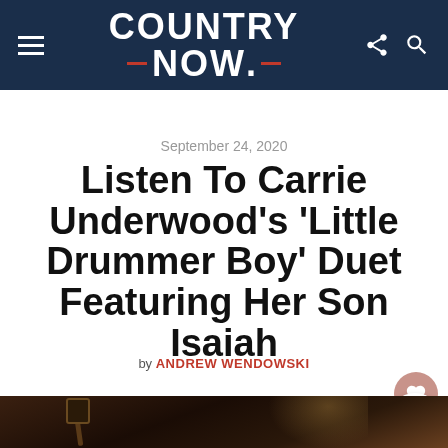COUNTRY NOW
September 24, 2020
Listen To Carrie Underwood's 'Little Drummer Boy' Duet Featuring Her Son Isaiah
by ANDREW WENDOWSKI
[Figure (photo): Studio recording session photo, dark background with microphone and warm lighting visible]